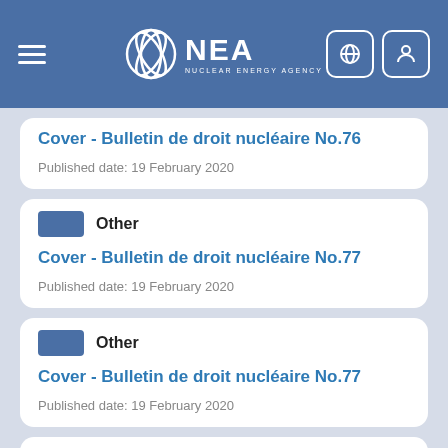NEA - Nuclear Energy Agency
Cover - Bulletin de droit nucléaire No.76
Published date: 19 February 2020
Other
Cover - Bulletin de droit nucléaire No.77
Published date: 19 February 2020
Other
Cover - Bulletin de droit nucléaire No.77
Published date: 19 February 2020
Other